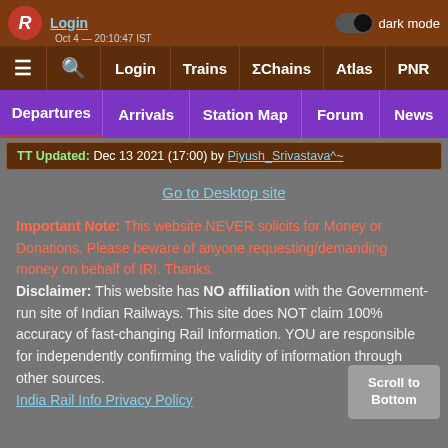Login | dark mode toggle
≡ 🔍 Login Trains ΣChains Atlas PNR
Departures | Arrivals | Station Map | Forum | News
TT Updated: Dec 13 2021 (17:00) by Piyush_Srivastava^~
Go to Desktop site
Important Note: This website NEVER solicits for Money or Donations. Please beware of anyone requesting/demanding money on behalf of IRI. Thanks. Disclaimer: This website has NO affiliation with the Government-run site of Indian Railways. This site does NOT claim 100% accuracy of fast-changing Rail Information. YOU are responsible for independently confirming the validity of information through other sources.
India Rail Info Privacy Policy
Scroll to Bottom